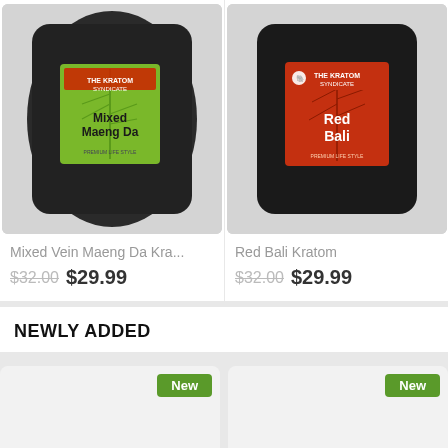[Figure (photo): Black pouch bag with green leaf label reading 'THE KRATOM SYNDICATE Mixed Maeng Da']
Mixed Vein Maeng Da Kra...
$32.00 $29.99
[Figure (photo): Black pouch bag with red label reading 'THE KRATOM SYNDICATE Red Bali']
Red Bali Kratom
$32.00 $29.99
NEWLY ADDED
[Figure (other): New product card placeholder with green 'New' badge]
[Figure (other): New product card placeholder with green 'New' badge]